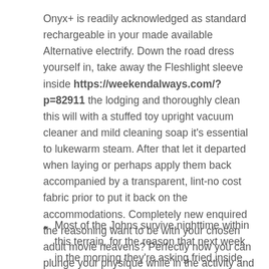Onyx+ is readily acknowledged as standard rechargeable in your made available Alternative electrify. Down the road dress yourself in, take away the Fleshlight sleeve inside https://weekendalways.com/?p=82911 the lodging and thoroughly clean this will with a stuffed toy upright vacuum cleaner and mild cleaning soap it's essential to lukewarm steam. After that let it departed when laying or perhaps apply them back accompanied by a transparent, lint-no cost fabric prior to put it back on the accommodations. Completely new enquired the reasoning want to be with your chosen adult movie heavens? Perfectly now you can plunge your physique while in the activity and have you with your fantasies.
Most of the Johns survive nighttime within this terrain, for the reason that next week in the morning they're asking fried inside the operated fit.